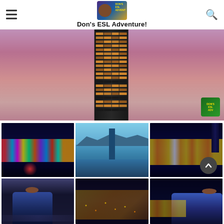Don's ESL Adventure!
[Figure (photo): Tall skyscraper photographed against a pink-purple dusk sky, close-up view showing illuminated windows]
[Figure (photo): Hong Kong skyline at night with colorful lights reflected in Victoria Harbour]
[Figure (photo): Daytime view of Hong Kong skyline and harbour from an elevated vantage point with mountains in background]
[Figure (photo): Aerial night view of Hong Kong skyline from The Peak showing city lights]
[Figure (photo): Person sitting on a glass floor observation deck with city lights below]
[Figure (photo): Aerial nighttime cityscape of Hong Kong with golden lights spreading across the city]
[Figure (photo): Person sitting at an observation deck at night with Hong Kong city lights in background]